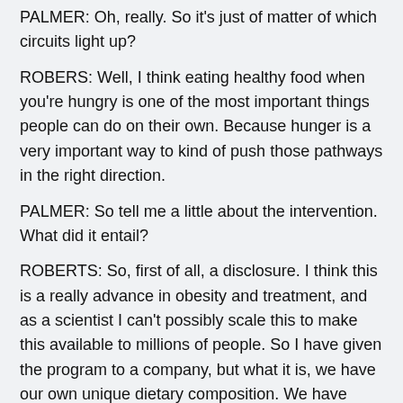PALMER: Oh, really. So it's just of matter of which circuits light up?
ROBERS: Well, I think eating healthy food when you're hungry is one of the most important things people can do on their own. Because hunger is a very important way to kind of push those pathways in the right direction.
PALMER: So tell me a little about the intervention. What did it entail?
ROBERTS: So, first of all, a disclosure. I think this is a really advance in obesity and treatment, and as a scientist I can't possibly scale this to make this available to millions of people. So I have given the program to a company, but what it is, we have our own unique dietary composition. We have menus that we get people to follow while they learn how to do the new program. We've designed the program, theponents of designing. We've